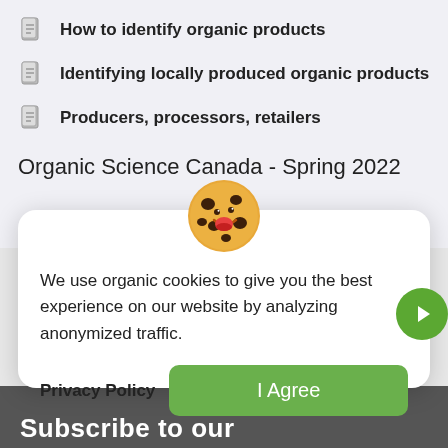How to identify organic products
Identifying locally produced organic products
Producers, processors, retailers
Organic Science Canada - Spring 2022
[Figure (illustration): Cartoon smiling chocolate chip cookie character]
We use organic cookies to give you the best experience on our website by analyzing anonymized traffic.
Privacy Policy
I Agree
Subscribe to our